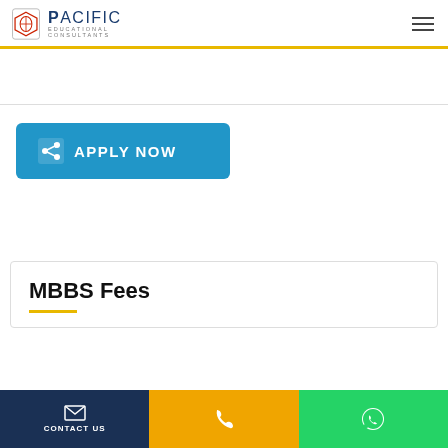Pacific Educational Consultants
[Figure (screenshot): Apply Now button with share/link icon, blue background]
MBBS Fees
CONTACT US | Phone | WhatsApp